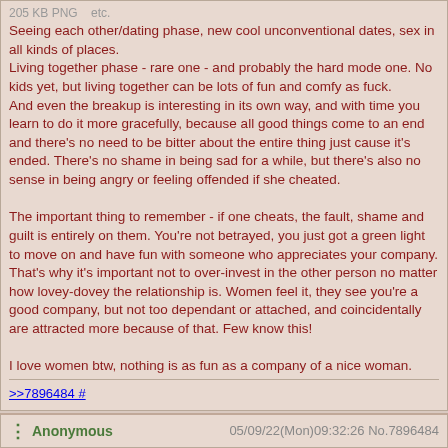205 KB PNG   etc.
Seeing each other/dating phase, new cool unconventional dates, sex in all kinds of places.
Living together phase - rare one - and probably the hard mode one. No kids yet, but living together can be lots of fun and comfy as fuck.
And even the breakup is interesting in its own way, and with time you learn to do it more gracefully, because all good things come to an end and there's no need to be bitter about the entire thing just cause it's ended. There's no shame in being sad for a while, but there's also no sense in being angry or feeling offended if she cheated.

The important thing to remember - if one cheats, the fault, shame and guilt is entirely on them. You're not betrayed, you just got a green light to move on and have fun with someone who appreciates your company. That's why it's important not to over-invest in the other person no matter how lovey-dovey the relationship is. Women feel it, they see you're a good company, but not too dependant or attached, and coincidentally are attracted more because of that. Few know this!

I love women btw, nothing is as fun as a company of a nice woman.
>>7896484 #
Anonymous   05/09/22(Mon)09:32:26 No.7896484